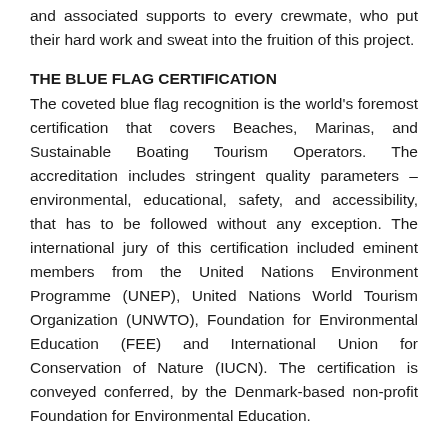and associated supports to every crewmate, who put their hard work and sweat into the fruition of this project.
THE BLUE FLAG CERTIFICATION
The coveted blue flag recognition is the world's foremost certification that covers Beaches, Marinas, and Sustainable Boating Tourism Operators. The accreditation includes stringent quality parameters – environmental, educational, safety, and accessibility, that has to be followed without any exception. The international jury of this certification included eminent members from the United Nations Environment Programme (UNEP), United Nations World Tourism Organization (UNWTO), Foundation for Environmental Education (FEE) and International Union for Conservation of Nature (IUCN). The certification is conveyed conferred, by the Denmark-based non-profit Foundation for Environmental Education.
AN OVERVIEW OF FEE!